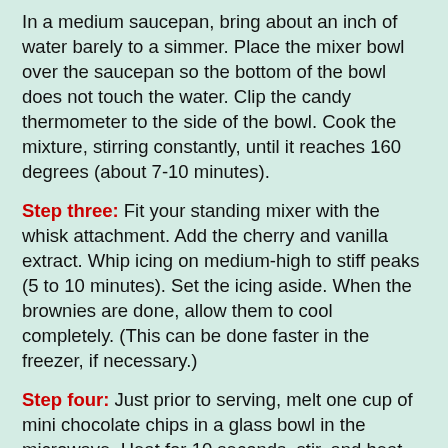In a medium saucepan, bring about an inch of water barely to a simmer. Place the mixer bowl over the saucepan so the bottom of the bowl does not touch the water. Clip the candy thermometer to the side of the bowl. Cook the mixture, stirring constantly, until it reaches 160 degrees (about 7-10 minutes).
Step three: Fit your standing mixer with the whisk attachment. Add the cherry and vanilla extract. Whip icing on medium-high to stiff peaks (5 to 10 minutes). Set the icing aside. When the brownies are done, allow them to cool completely. (This can be done faster in the freezer, if necessary.)
Step four: Just prior to serving, melt one cup of mini chocolate chips in a glass bowl in the microwave. Heat for 10 seconds, stir, and heat again for 10 seconds. Do this until the chocolate is melted. Ice the brownies with the cherry meringue icing. Cut and serve onto plates. Top each serving with a fresh or maraschino cherry. Drizzle the melted chocolate over each piece (or just on the plate if you want) and sprinkle with whole mini chocolate chips.